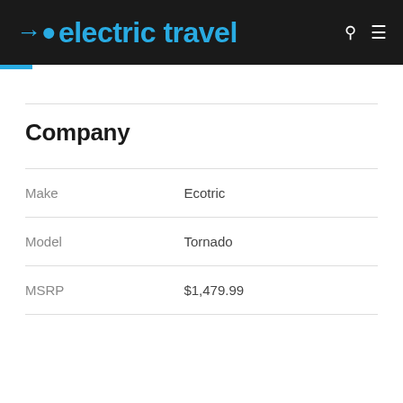electric travel
Company
| Make | Ecotric |
| Model | Tornado |
| MSRP | $1,479.99 |